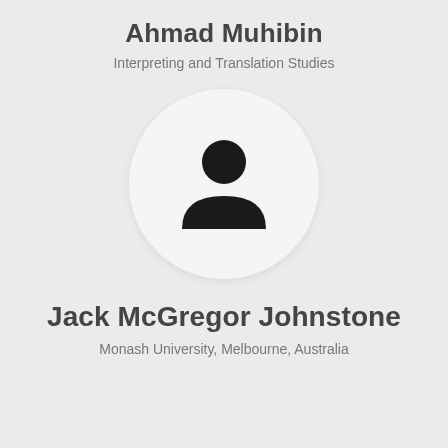Ahmad Muhibin
Interpreting and Translation Studies
[Figure (illustration): Default user avatar placeholder — a white circle containing a black silhouette of a generic person (head circle and body/shoulders shape)]
Jack McGregor Johnstone
Monash University, Melbourne, Australia